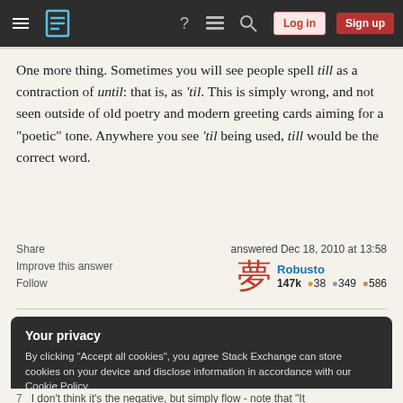Stack Exchange navigation bar with hamburger menu, logo, help, chat, search icons, Log in and Sign up buttons
One more thing. Sometimes you will see people spell till as a contraction of until: that is, as 'til. This is simply wrong, and not seen outside of old poetry and modern greeting cards aiming for a "poetic" tone. Anywhere you see 'til being used, till would be the correct word.
Share | answered Dec 18, 2010 at 13:58 | Improve this answer | Robusto 147k ●38 ●349 ●586 | Follow
Your privacy
By clicking "Accept all cookies", you agree Stack Exchange can store cookies on your device and disclose information in accordance with our Cookie Policy.
Accept all cookies | Customize settings
7    I don't think it's the negative, but simply flow - note that "It